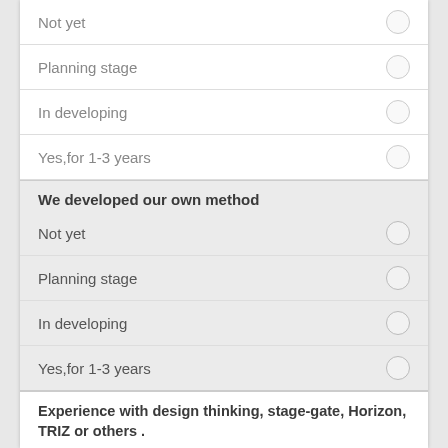Not yet
Planning stage
In developing
Yes,for 1-3 years
We developed our own method
Not yet
Planning stage
In developing
Yes,for 1-3 years
Experience with design thinking, stage-gate, Horizon, TRIZ or others .
Not yet